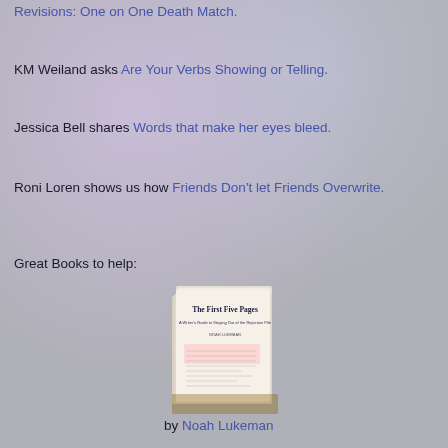Revisions: One on One Death Match.
KM Weiland asks Are Your Verbs Showing or Telling.
Jessica Bell shares Words that make her eyes bleed.
Roni Loren shows us how Friends Don't let Friends Overwrite.
Great Books to help:
[Figure (photo): Book cover of 'The First Five Pages' by Noah Lukeman, shown as an open book/physical copy on a table]
by Noah Lukeman
[Figure (photo): Bottom portion of another book cover showing 'SELF-EDITING for' text with a pencil graphic]